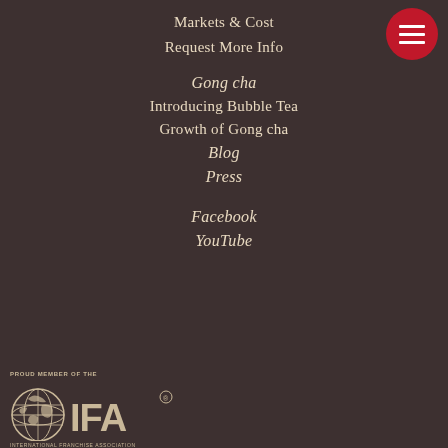Markets & Cost
Request More Info
Gong cha
Introducing Bubble Tea
Growth of Gong cha
Blog
Press
Facebook
YouTube
[Figure (logo): Proud Member of the IFA - International Franchise Association logo with globe icon]
[Figure (other): Red circular hamburger menu button with three white horizontal lines]